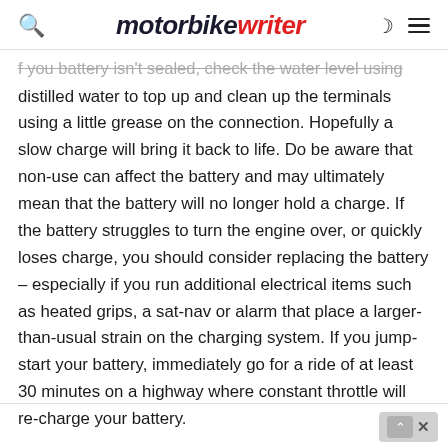motorbike writer
...if your battery isn't sealed, check the water level using distilled water to top up and clean up the terminals using a little grease on the connection. Hopefully a slow charge will bring it back to life. Do be aware that non-use can affect the battery and may ultimately mean that the battery will no longer hold a charge. If the battery struggles to turn the engine over, or quickly loses charge, you should consider replacing the battery – especially if you run additional electrical items such as heated grips, a sat-nav or alarm that place a larger-than-usual strain on the charging system. If you jump-start your battery, immediately go for a ride of at least 30 minutes on a highway where constant throttle will re-charge your battery.